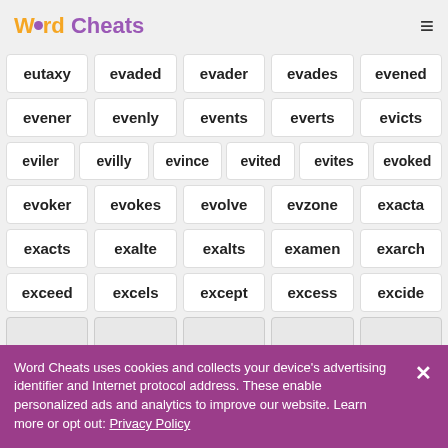Word Cheats
eutaxy evaded evader evades evened
evener evenly events everts evicts
eviler evilly evince evited evites evoked
evoker evokes evolve evzone exacta
exacts exalte exalts examen exarch
exceed excels except excess excide
Word Cheats uses cookies and collects your device's advertising identifier and Internet protocol address. These enable personalized ads and analytics to improve our website. Learn more or opt out: Privacy Policy